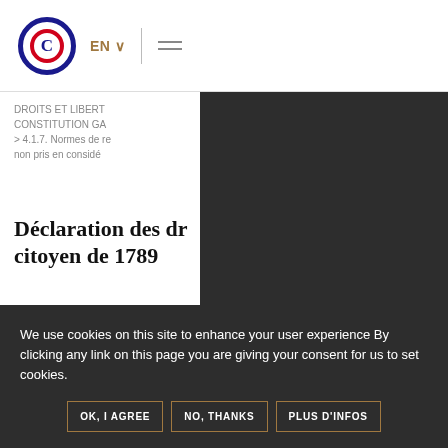[Figure (logo): Circular logo with blue outer ring, red inner circle and letter C]
EN ∨  ≡
DROITS ET LIBERTÉS > CONSTITUTION GA > 4.1.7. Normes de re non pris en considé
Déclaration des dr citoyen de 1789
Les dispositions de l'arti sont mises en œuvre par n'instituent pas un droit
We use cookies on this site to enhance your user experience By clicking any link on this page you are giving your consent for us to set cookies.
OK, I AGREE
NO, THANKS
PLUS D'INFOS